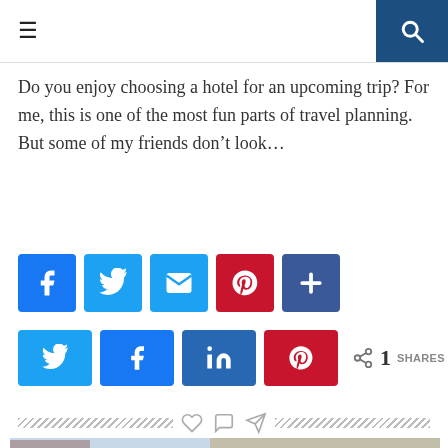Navigation header with hamburger menu and search icon
Do you enjoy choosing a hotel for an upcoming trip? For me, this is one of the most fun parts of travel planning. But some of my friends don’t look...
[Figure (infographic): Social share buttons row 1: Facebook, Twitter, Email, Pinterest, Plus]
[Figure (infographic): Social share buttons row 2: Twitter, Facebook, LinkedIn, Pinterest, 1 SHARES count]
[Figure (infographic): Divider row with dashed lines and heart, comment, send icons]
[Figure (photo): Photo of historic buildings with a concrete wall in the foreground, appears to be the Berlin Wall area]